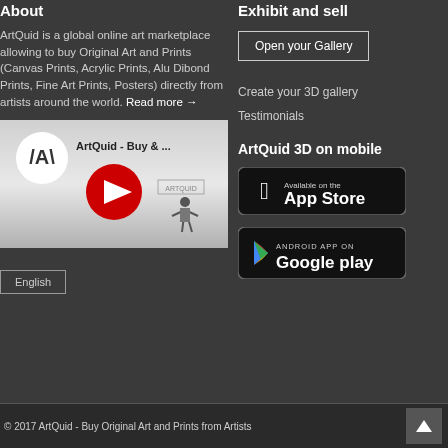About
Exhibit and sell
ArtQuid is a global online art marketplace allowing to buy Original Art and Prints (Canvas Prints, Acrylic Prints, Alu Dibond Prints, Fine Art Prints, Posters) directly from artists around the world. Read more →
[Figure (screenshot): YouTube video thumbnail for ArtQuid - Buy & ... showing ArtQuid logo, red play button, and a character figure]
Open your Gallery
Create your 3D gallery
Testimonials
ArtQuid 3D on mobile
[Figure (screenshot): App Store badge - Available on the App Store]
[Figure (screenshot): Google Play badge - Android App On Google play]
English
© 2017 ArtQuid - Buy Original Art and Prints from Artists